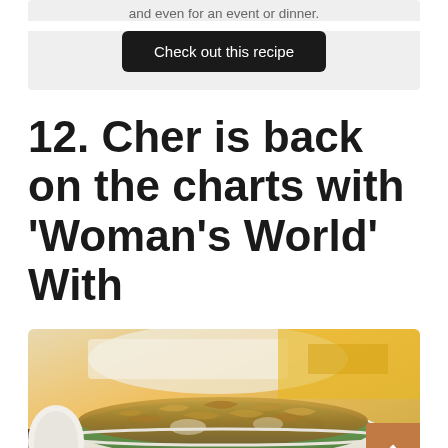and even for an event or dinner.
Check out this recipe
12. Cher is back on the charts with ‘Woman’s World’ With
[Figure (photo): A bowl of green bean casserole topped with crispy fried onions, photographed from above at an angle. Background shows a blurred white dish and yellow fabric.]